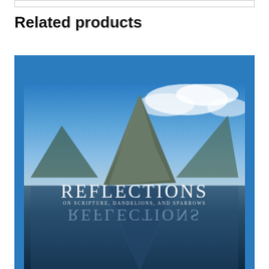Related products
[Figure (photo): Book cover for 'Reflections on Scripture, Dandelions, and Sparrows' showing a dramatic mountain peak reflected in still water, with blue sky and clouds. The word REFLECTIONS appears in large serif text on the mountain, with a water reflection of the text below. The cover is displayed within a blue-bordered product card.]